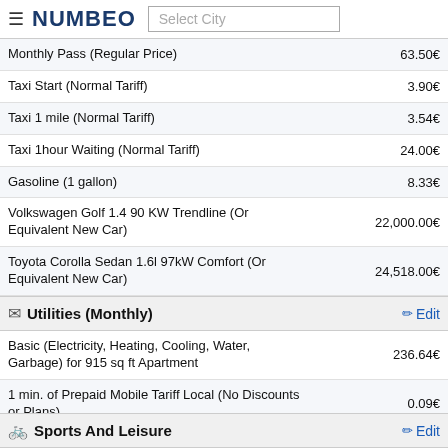NUMBEO | Select City
Monthly Pass (Regular Price) | 63.50€
Taxi Start (Normal Tariff) | 3.90€
Taxi 1 mile (Normal Tariff) | 3.54€
Taxi 1hour Waiting (Normal Tariff) | 24.00€
Gasoline (1 gallon) | 8.33€
Volkswagen Golf 1.4 90 KW Trendline (Or Equivalent New Car) | 22,000.00€
Toyota Corolla Sedan 1.6l 97kW Comfort (Or Equivalent New Car) | 24,518.00€
Utilities (Monthly)
Basic (Electricity, Heating, Cooling, Water, Garbage) for 915 sq ft Apartment | 236.64€
1 min. of Prepaid Mobile Tariff Local (No Discounts or Plans) | 0.09€
Internet (60 Mbps or More, Unlimited Data, Cable/ADSL) | 30.67€
Sports And Leisure